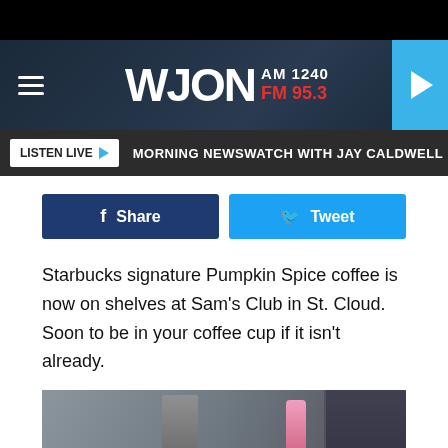[Figure (logo): WJON AM 1240 FM 95.3 radio station header logo with hamburger menu and play button]
LISTEN LIVE ▶  MORNING NEWSWATCH WITH JAY CALDWELL  TH
f  Share
Tweet
Starbucks signature Pumpkin Spice coffee is now on shelves at Sam's Club in St. Cloud. Soon to be in your coffee cup if it isn't already.
[Figure (photo): Kitchen counter with coffee items including a bowl, a red Limited Edition can, a gray tumbler, a pink bottle, a coffee machine, and a white label. A blue cloth is visible in the foreground.]